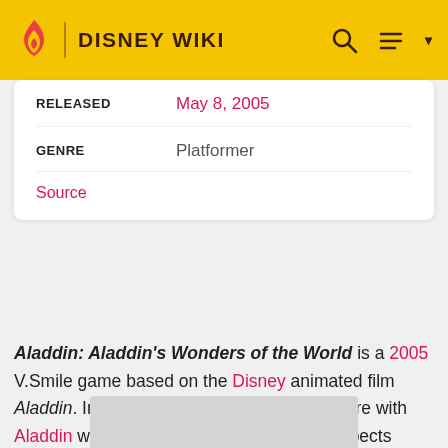DISNEY WIKI
| Field | Value |
| --- | --- |
| RELEASED | May 8, 2005 |
| GENRE | Platformer |
Source
Aladdin: Aladdin's Wonders of the World is a 2005 V.Smile game based on the Disney animated film Aladdin. In this game, you go on an adventure with Aladdin while learning some educational aspects along the way.
[Figure (photo): Image placeholder at bottom of page]